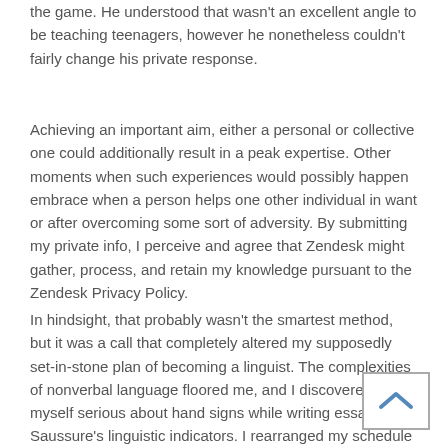the game. He understood that wasn't an excellent angle to be teaching teenagers, however he nonetheless couldn't fairly change his private response.
Achieving an important aim, either a personal or collective one could additionally result in a peak expertise. Other moments when such experiences would possibly happen embrace when a person helps one other individual in want or after overcoming some sort of adversity. By submitting my private info, I perceive and agree that Zendesk might gather, process, and retain my knowledge pursuant to the Zendesk Privacy Policy.
In hindsight, that probably wasn't the smartest method, but it was a call that completely altered my supposedly set-in-stone plan of becoming a linguist. The complexities of nonverbal language floored me, and I discovered myself serious about hand signs while writing essays on Saussure's linguistic indicators. I rearranged my schedule so I could take improv classes to assist with my facial and physique expressions. That was utterly out of character, however I abruptly found myself compelled towards anything that would help immerse me in ASL and deaf tradition. For example, stereotypes and bias have
[Figure (other): A back-to-top button (chevron/arrow pointing up) in the bottom right corner, white background with grey border.]